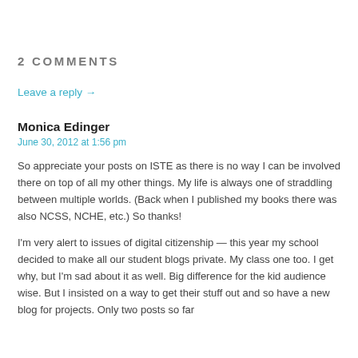2 COMMENTS
Leave a reply →
Monica Edinger
June 30, 2012 at 1:56 pm
So appreciate your posts on ISTE as there is no way I can be involved there on top of all my other things. My life is always one of straddling between multiple worlds. (Back when I published my books there was also NCSS, NCHE, etc.) So thanks!
I'm very alert to issues of digital citizenship — this year my school decided to make all our student blogs private. My class one too. I get why, but I'm sad about it as well. Big difference for the kid audience wise. But I insisted on a way to get their stuff out and so have a new blog for projects. Only two posts so far